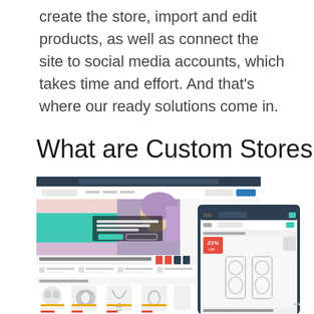create the store, import and edit products, as well as connect the site to social media accounts, which takes time and effort. And that's where our ready solutions come in.
What are Custom Stores?
[Figure (screenshot): Screenshot of Borjuz.com e-commerce website showing a jewelry store with a purple-haired model, product listings including earrings and necklaces, and a mobile view showing a '21% Off' badge on drop earrings.]